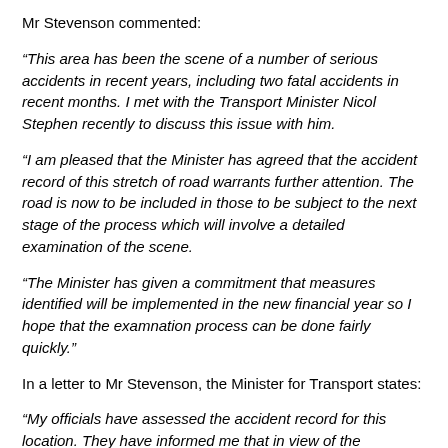Mr Stevenson commented:
“This area has been the scene of a number of serious accidents in recent years, including two fatal accidents in recent months. I met with the Transport Minister Nicol Stephen recently to discuss this issue with him.
“I am pleased that the Minister has agreed that the accident record of this stretch of road warrants further attention. The road is now to be included in those to be subject to the next stage of the process which will involve a detailed examination of the scene.
“The Minister has given a commitment that measures identified will be implemented in the new financial year so I hope that the examnation process can be done fairly quickly.”
In a letter to Mr Stevenson, the Minister for Transport states:
“My officials have assessed the accident record for this location. They have informed me that in view of the